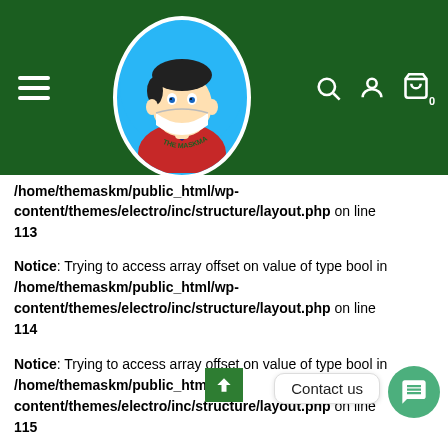[Figure (logo): The Maskman PK logo — cartoon character wearing a mask, inside a circle, on dark green navigation bar with hamburger menu, search, user, and cart icons]
content/themes/electro/inc/structure/layout.php on line 113
Notice: Trying to access array offset on value of type bool in /home/themaskm/public_html/wp-content/themes/electro/inc/structure/layout.php on line 114
Notice: Trying to access array offset on value of type bool in /home/themaskm/public_html/wp-content/themes/electro/inc/structure/layout.php on line 115
← Those with it mutation will often have a pops into the
10 most read useful Backpage Choice other sites